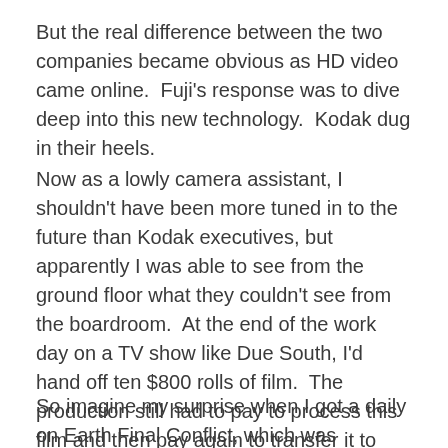But the real difference between the two companies became obvious as HD video came online.  Fuji’s response was to dive deep into this new technology.  Kodak dug in their heels.
Now as a lowly camera assistant, I shouldn’t have been more tuned in to the future than Kodak executives, but apparently I was able to see from the ground floor what they couldn’t see from the boardroom.  At the end of the work day on a TV show like Due South, I’d hand off ten $800 rolls of film.  The production still had to pay to process this film and then pay again to transfer it to video for editing.
So imagine my surprise when I got a daily on Earth Final Conflict, which was shooting HD.  I